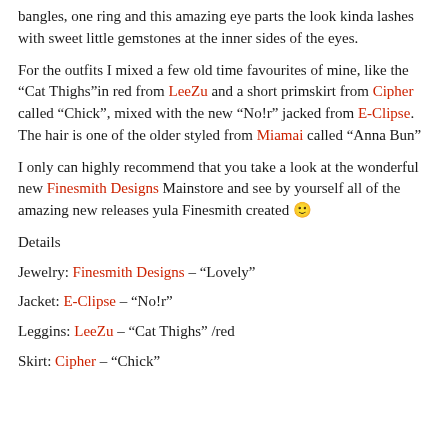bangles, one ring and this amazing eye parts the look kinda lashes with sweet little gemstones at the inner sides of the eyes.
For the outfits I mixed a few old time favourites of mine, like the “Cat Thighs”in red from LeeZu and a short primskirt from Cipher called “Chick”, mixed with the new “No!r” jacked from E-Clipse. The hair is one of the older styled from Miamai called “Anna Bun”
I only can highly recommend that you take a look at the wonderful new Finesmith Designs Mainstore and see by yourself all of the amazing new releases yula Finesmith created 🙂
Details
Jewelry: Finesmith Designs – “Lovely”
Jacket: E-Clipse – “No!r”
Leggins: LeeZu – “Cat Thighs” /red
Skirt: Cipher – “Chick”